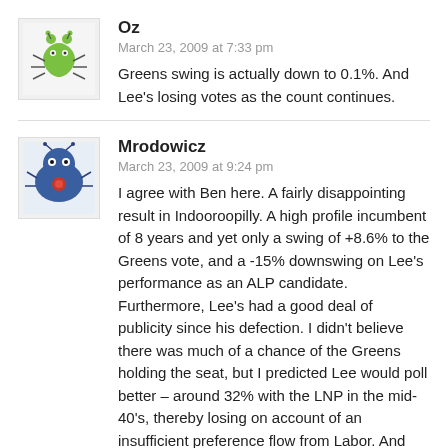[Figure (illustration): Avatar of user Oz: cartoon green heart-shaped bug character with antennae and thin legs]
Oz
March 23, 2009 at 7:33 pm
Greens swing is actually down to 0.1%. And Lee's losing votes as the count continues.
[Figure (illustration): Avatar of user Mrodowicz: cartoon blue round bug character with antennae and small legs]
Mrodowicz
March 23, 2009 at 9:24 pm
I agree with Ben here. A fairly disappointing result in Indooroopilly. A high profile incumbent of 8 years and yet only a swing of +8.6% to the Greens vote, and a -15% downswing on Lee's performance as an ALP candidate. Furthermore, Lee's had a good deal of publicity since his defection. I didn't believe there was much of a chance of the Greens holding the seat, but I predicted Lee would poll better – around 32% with the LNP in the mid-40's, thereby losing on account of an insufficient preference flow from Labor. And yes he does no credit to himself by not conceding defeat, when it's pretty bloody obvious to anyone he can't win.